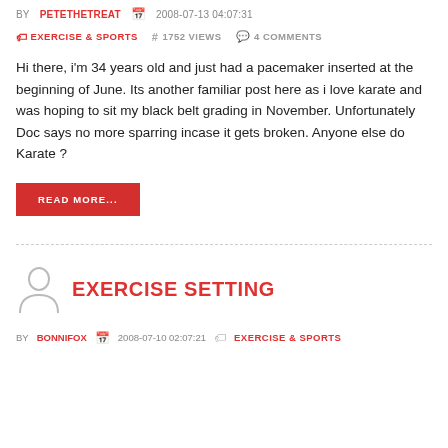BY PETETHETREAT   2008-07-13 04:07:31
EXERCISE & SPORTS   # 1752 VIEWS   4 COMMENTS
Hi there, i'm 34 years old and just had a pacemaker inserted at the beginning of June. Its another familiar post here as i love karate and was hoping to sit my black belt grading in November. Unfortunately Doc says no more sparring incase it gets broken. Anyone else do Karate ?
READ MORE...
EXERCISE SETTING
BY BONNIFOX   2008-07-10 02:07:21   EXERCISE & SPORTS